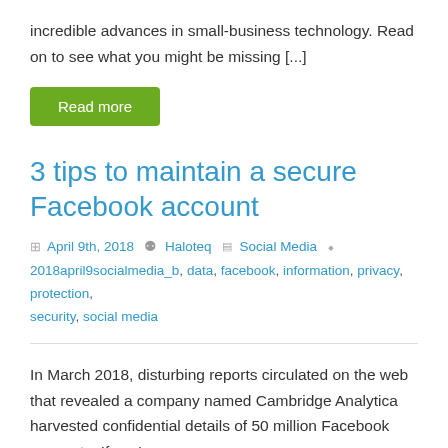incredible advances in small-business technology. Read on to see what you might be missing [...]
Read more
3 tips to maintain a secure Facebook account
April 9th, 2018  Haloteq  Social Media
2018april9socialmedia_b, data, facebook, information, privacy, protection, security, social media
In March 2018, disturbing reports circulated on the web that revealed a company named Cambridge Analytica harvested confidential details of 50 million Facebook accounts. If you're